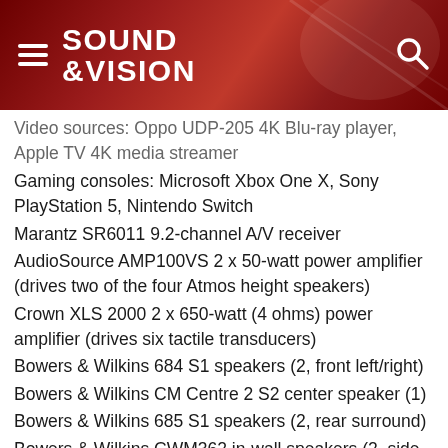SOUND &VISION
Video sources: Oppo UDP-205 4K Blu-ray player, Apple TV 4K media streamer
Gaming consoles: Microsoft Xbox One X, Sony PlayStation 5, Nintendo Switch
Marantz SR6011 9.2-channel A/V receiver
AudioSource AMP100VS 2 x 50-watt power amplifier (drives two of the four Atmos height speakers)
Crown XLS 2000 2 x 650-watt (4 ohms) power amplifier (drives six tactile transducers)
Bowers & Wilkins 684 S1 speakers (2, front left/right)
Bowers & Wilkins CM Centre 2 S2 center speaker (1)
Bowers & Wilkins 685 S1 speakers (2, rear surround)
Bowers & Wilkins CWM362 in-wall speakers (2, side surround)
PSL C345 in-ceiling speakers (4, Atmos height